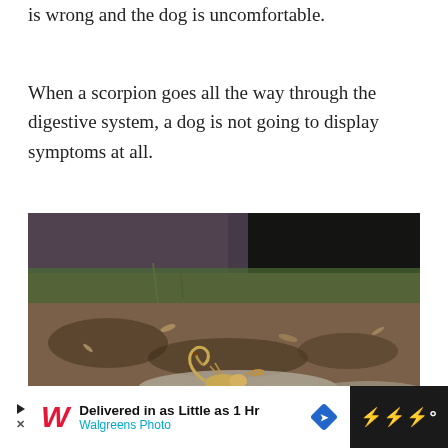is wrong and the dog is uncomfortable.
When a scorpion goes all the way through the digestive system, a dog is not going to display symptoms at all.
[Figure (photo): Close-up photograph of a scorpion on rocky ground with blurred green grass and soil in the background.]
Delivered in as Little as 1 Hr Walgreens Photo [advertisement banner]